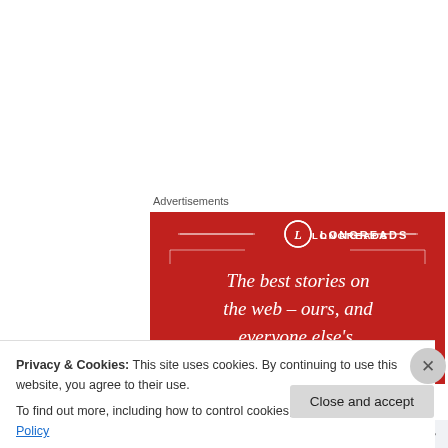Advertisements
[Figure (illustration): Longreads advertisement banner on red background with logo circle containing 'L', decorative bracket lines, and italic tagline text: 'The best stories on the web – ours, and everyone else's.']
The story, like life, reveals over and over that nothing is as
Privacy & Cookies: This site uses cookies. By continuing to use this website, you agree to their use.
To find out more, including how to control cookies, see here: Cookie Policy
Close and accept
Follow ...